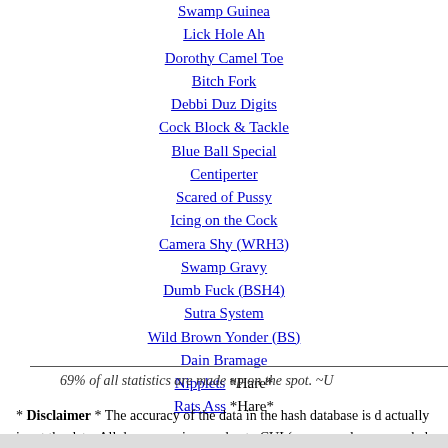Swamp Guinea
Lick Hole Ah
Dorothy Camel Toe
Bitch Fork
Debbi Duz Digits
Cock Block & Tackle
Blue Ball Special
Centiperter
Scared of Pussy
Icing on the Cock
Camera Shy (WRH3)
Swamp Gravy
Dumb Fuck (BSH4)
Sutra System
Wild Brown Yonder (BS)
Dain Bramage
Nipplets *Hare*
Rats Ass *Hare*
69% of all statistics are made up on the spot. ~U
* Disclaimer * The accuracy of the data in the hash database is d actually input the data. All descrepencies are due to CUI (compu welcome any help in assertaining more accurate data. Please send a you have such data you are willing to s